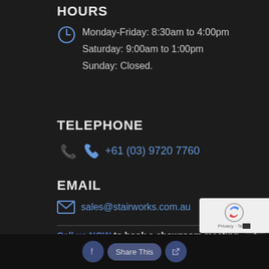HOURS
Monday-Friday: 8:30am to 4:00pm
Saturday: 9:00am to 1:00pm
Sunday: Closed.
TELEPHONE
+61 (03) 9720 7760
EMAIL
sales@stairworks.com.au
Call us NOW to book a showroom meeting.
Share This